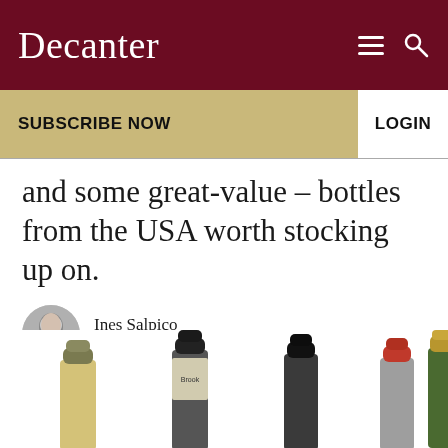Decanter
SUBSCRIBE NOW
LOGIN
and some great-value – bottles from the USA worth stocking up on.
Ines Salpico
October 8, 2021
[Figure (photo): Tops of five wine bottles in a row, partially cropped at the bottom of the page, showing various capsule colors (olive/brown, black with label, black, red/silver, gold/green).]